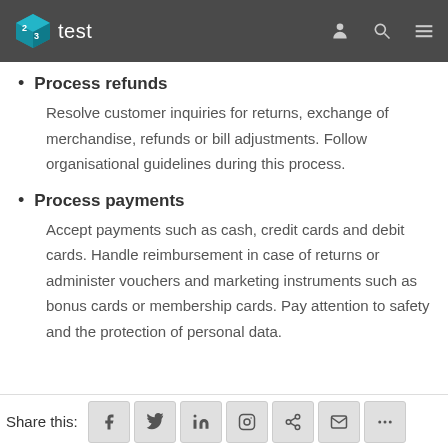test
Process refunds — Resolve customer inquiries for returns, exchange of merchandise, refunds or bill adjustments. Follow organisational guidelines during this process.
Process payments — Accept payments such as cash, credit cards and debit cards. Handle reimbursement in case of returns or administer vouchers and marketing instruments such as bonus cards or membership cards. Pay attention to safety and the protection of personal data.
Share this: